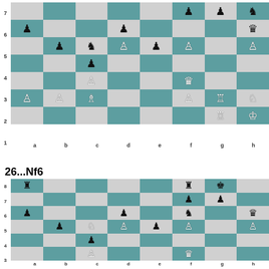[Figure (other): Chess board diagram showing position before move 26...Nf6. Pieces: black pawns on a6, b5, d4, e5; black knight on c5; black queen on h6; black rook implied; white pawns on a2, b2, d3, e5, f2, h5; white bishop on c2; white queen on f3; white rook on g2, g1; white knight on h2; white king on h1.]
26...Nf6
[Figure (other): Chess board diagram showing position after move 26...Nf6. Black rook on a8, black king on g8, black rook on f8; black pawns on f7, g7; black pawn on a6, d6; black knight on f6; black queen on h6; black pawn on b5, e5; white knight on c5; white pawn on d5, e5, f5, h5; white pawn on b4 area; white queen on f3; white pawns continuing.]